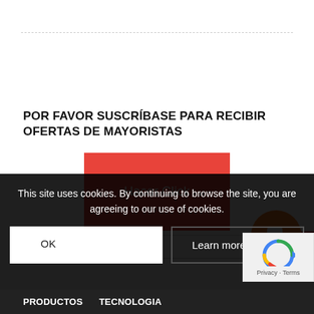POR FAVOR SUSCRÍBASE PARA RECIBIR OFERTAS DE MAYORISTAS
[Figure (screenshot): Red button labeled 'Hacer Click']
[Figure (screenshot): Search input field with placeholder 'Search']
[Figure (other): Orange circular chat/notification icon with a white speech bubble symbol, overlapping a red block]
This site uses cookies. By continuing to browse the site, you are agreeing to our use of cookies.
OK
Learn more
PRODUCTOS TECNOLOGIA